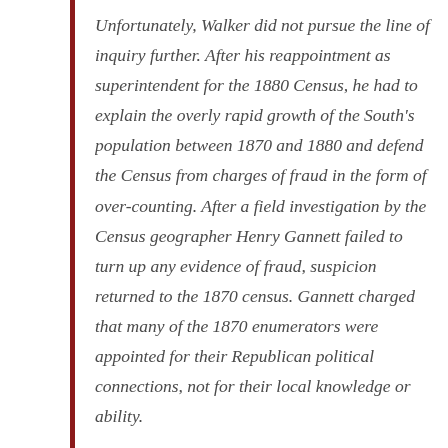Unfortunately, Walker did not pursue the line of inquiry further. After his reappointment as superintendent for the 1880 Census, he had to explain the overly rapid growth of the South's population between 1870 and 1880 and defend the Census from charges of fraud in the form of over-counting. After a field investigation by the Census geographer Henry Gannett failed to turn up any evidence of fraud, suspicion returned to the 1870 census. Gannett charged that many of the 1870 enumerators were appointed for their Republican political connections, not for their local knowledge or ability.